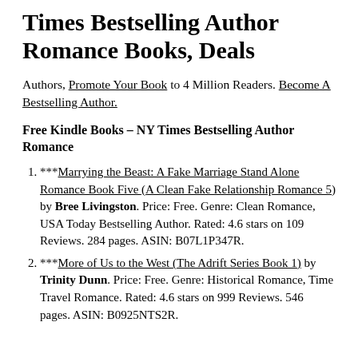Times Bestselling Author Romance Books, Deals
Authors, Promote Your Book to 4 Million Readers. Become A Bestselling Author.
Free Kindle Books – NY Times Bestselling Author Romance
***Marrying the Beast: A Fake Marriage Stand Alone Romance Book Five (A Clean Fake Relationship Romance 5) by Bree Livingston. Price: Free. Genre: Clean Romance, USA Today Bestselling Author. Rated: 4.6 stars on 109 Reviews. 284 pages. ASIN: B07L1P347R.
***More of Us to the West (The Adrift Series Book 1) by Trinity Dunn. Price: Free. Genre: Historical Romance, Time Travel Romance. Rated: 4.6 stars on 999 Reviews. 546 pages. ASIN: B0925NTS2R.